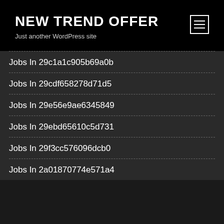NEW TREND OFFER
Just another WordPress site
Jobs In 29c1a1c905b69a0b
Jobs In 29cdf658278d71d5
Jobs In 29e56e9ae6345849
Jobs In 29ebd65610c5d731
Jobs In 29f3cc576096dcb0
Jobs In 2a01870774e571a4